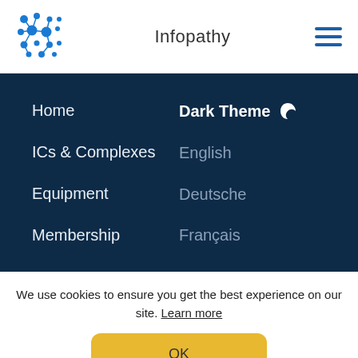Infopathy
Home
ICs & Complexes
Equipment
Membership
Dark Theme
English
Deutsche
Français
We use cookies to ensure you get the best experience on our site. Learn more
OK